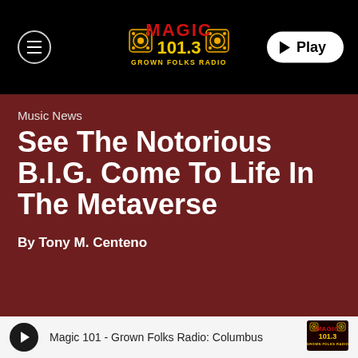[Figure (logo): Magic 101.3 Grown Folks Radio logo — MAGIC in red bold letters, 101.3 in yellow on black speaker graphic, GROWN FOLKS RADIO in yellow below]
▶ Play
Music News
See The Notorious B.I.G. Come To Life In The Metaverse
By Tony M. Centeno
Magic 101 - Grown Folks Radio: Columbus